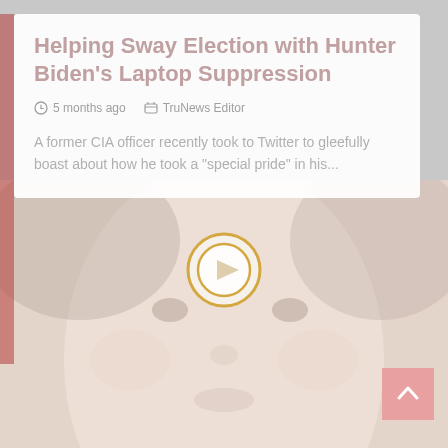Helping Sway Election with Hunter Biden's Laptop Suppression
5 months ago   TruNews Editor
A former CIA officer recently took to Twitter to gleefully boast about how he took a "special pride" in his...
[Figure (photo): Close-up photo of a young child's face, faded/washed out tone. A circular play button icon overlays the center of the image.]